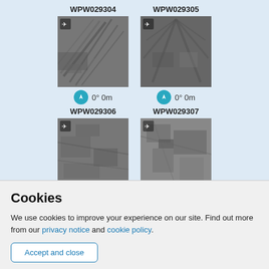[Figure (photo): Aerial photograph WPW029304, black and white, with airplane icon overlay, compass 0° 0m]
[Figure (photo): Aerial photograph WPW029305, black and white, with airplane icon overlay, compass 0° 0m]
[Figure (photo): Aerial photograph WPW029306, black and white, with airplane icon overlay]
[Figure (photo): Aerial photograph WPW029307, black and white, with airplane icon overlay]
Cookies
We use cookies to improve your experience on our site. Find out more from our privacy notice and cookie policy.
Accept and close